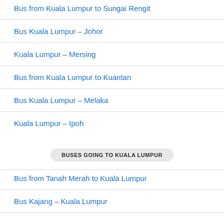Bus from Kuala Lumpur to Sungai Rengit
Bus Kuala Lumpur – Johor
Kuala Lumpur – Mersing
Bus from Kuala Lumpur to Kuantan
Bus Kuala Lumpur – Melaka
Kuala Lumpur – Ipoh
BUSES GOING TO KUALA LUMPUR
Bus from Tanah Merah to Kuala Lumpur
Bus Kajang – Kuala Lumpur